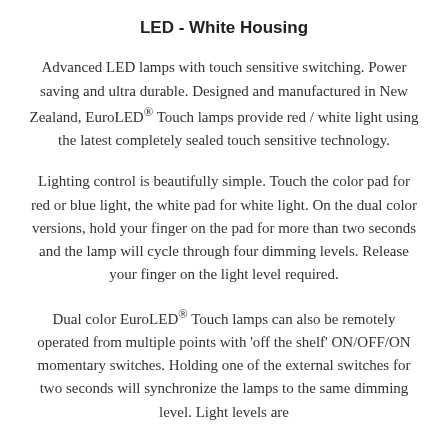LED - White Housing
Advanced LED lamps with touch sensitive switching. Power saving and ultra durable. Designed and manufactured in New Zealand, EuroLED® Touch lamps provide red / white light using the latest completely sealed touch sensitive technology.
Lighting control is beautifully simple. Touch the color pad for red or blue light, the white pad for white light. On the dual color versions, hold your finger on the pad for more than two seconds and the lamp will cycle through four dimming levels. Release your finger on the light level required.
Dual color EuroLED® Touch lamps can also be remotely operated from multiple points with 'off the shelf' ON/OFF/ON momentary switches. Holding one of the external switches for two seconds will synchronize the lamps to the same dimming level. Light levels are